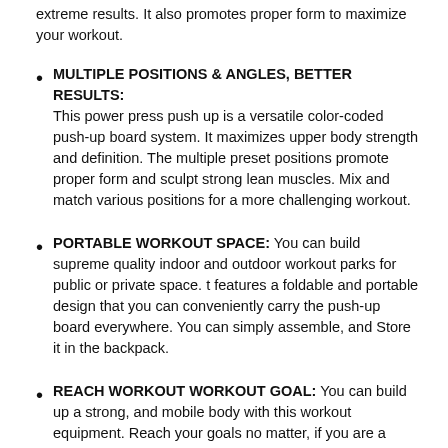extreme results. It also promotes proper form to maximize your workout.
MULTIPLE POSITIONS & ANGLES, BETTER RESULTS: This power press push up is a versatile color-coded push-up board system. It maximizes upper body strength and definition. The multiple preset positions promote proper form and sculpt strong lean muscles. Mix and match various positions for a more challenging workout.
PORTABLE WORKOUT SPACE: You can build supreme quality indoor and outdoor workout parks for public or private space. t features a foldable and portable design that you can conveniently carry the push-up board everywhere. You can simply assemble, and Store it in the backpack.
REACH WORKOUT WORKOUT GOAL: You can build up a strong, and mobile body with this workout equipment. Reach your goals no matter, if you are a beginner,